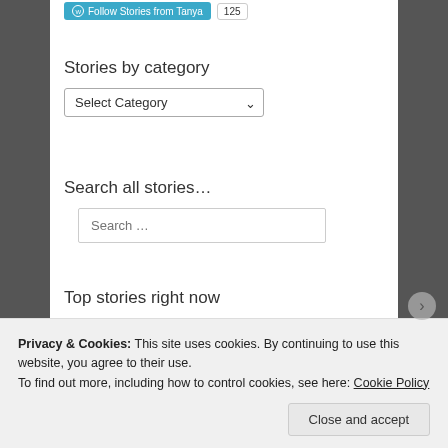[Figure (screenshot): Follow Stories from Tanya button (teal) with follower count badge (125)]
Stories by category
[Figure (screenshot): Select Category dropdown widget]
Search all stories…
[Figure (screenshot): Search input box with placeholder text 'Search …']
Top stories right now
[Figure (photo): Two thumbnail images for top stories]
Privacy & Cookies: This site uses cookies. By continuing to use this website, you agree to their use.
To find out more, including how to control cookies, see here: Cookie Policy
Close and accept